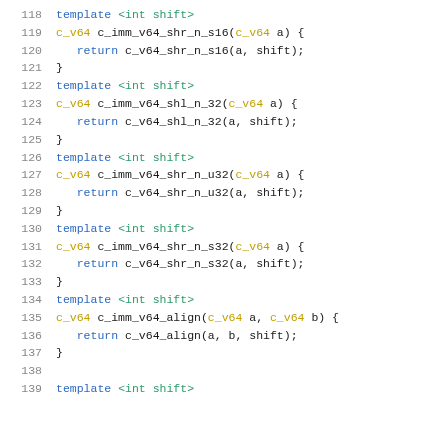Code listing lines 118-139, C++ template functions for SIMD vector shift/align operations
118  template <int shift>
119  c_v64 c_imm_v64_shr_n_s16(c_v64 a) {
120    return c_v64_shr_n_s16(a, shift);
121  }
122  template <int shift>
123  c_v64 c_imm_v64_shl_n_32(c_v64 a) {
124    return c_v64_shl_n_32(a, shift);
125  }
126  template <int shift>
127  c_v64 c_imm_v64_shr_n_u32(c_v64 a) {
128    return c_v64_shr_n_u32(a, shift);
129  }
130  template <int shift>
131  c_v64 c_imm_v64_shr_n_s32(c_v64 a) {
132    return c_v64_shr_n_s32(a, shift);
133  }
134  template <int shift>
135  c_v64 c_imm_v64_align(c_v64 a, c_v64 b) {
136    return c_v64_align(a, b, shift);
137  }
138
139  template <int shift>